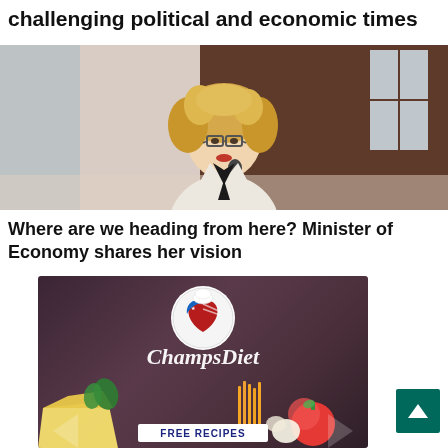challenging political and economic times
[Figure (photo): A blonde woman with curly hair and glasses wearing a light blazer, holding a microphone, speaking at an event. Dark wood panel background with curtain visible on left.]
Where are we heading from here? Minister of Economy shares her vision
[Figure (illustration): ChampsDiet advertisement banner. Dark textured background with American flag heart logo at top. 'ChampsDiet' in cursive white text. Food items (cheese, tomato, pasta, herbs) at bottom. 'FREE RECIPES' button in center-bottom. Arrow decorations on sides.]